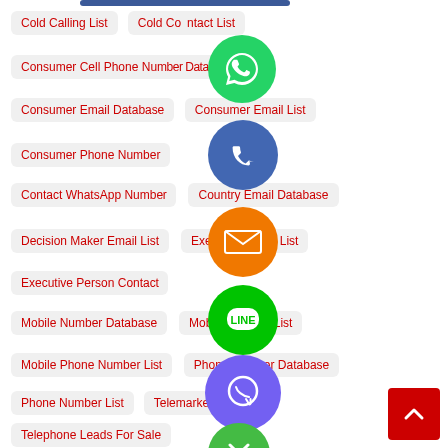Cold Calling List
Cold Contact List
Consumer Cell Phone Number Database
Consumer Email Database
Consumer Email List
Consumer Phone Number
Contact WhatsApp Number
Country Email Database
Decision Maker Email List
Executive Email List
Executive Person Contact
Mobile Number Database
Mobile Number List
Mobile Phone Number List
Phone Number Database
Phone Number List
Telemarketing List
Telephone Leads For Sale
Whatsapp B2C Number List